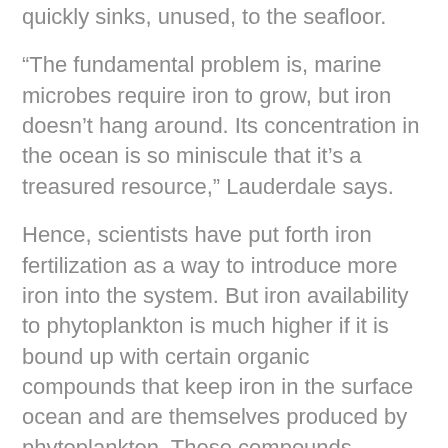quickly sinks, unused, to the seafloor.
“The fundamental problem is, marine microbes require iron to grow, but iron doesn’t hang around. Its concentration in the ocean is so miniscule that it’s a treasured resource,” Lauderdale says.
Hence, scientists have put forth iron fertilization as a way to introduce more iron into the system. But iron availability to phytoplankton is much higher if it is bound up with certain organic compounds that keep iron in the surface ocean and are themselves produced by phytoplankton. These compounds, known as ligands, constitute what Lauderdale describes